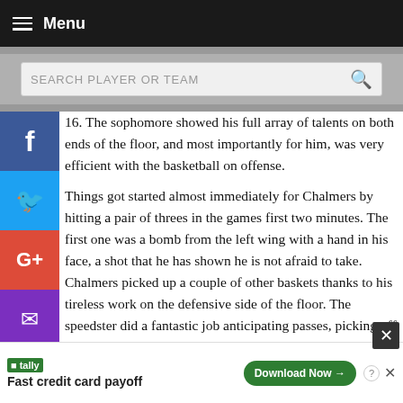Menu
SEARCH PLAYER OR TEAM
16. The sophomore showed his full array of talents on both ends of the floor, and most importantly for him, was very efficient with the basketball on offense.
Things got started almost immediately for Chalmers by hitting a pair of threes in the games first two minutes. The first one was a bomb from the left wing with a hand in his face, a shot that he has shown he is not afraid to take. Chalmers picked up a couple of other baskets thanks to his tireless work on the defensive side of the floor. The speedster did a fantastic job anticipating passes, picking off two
Fast credit card payoff